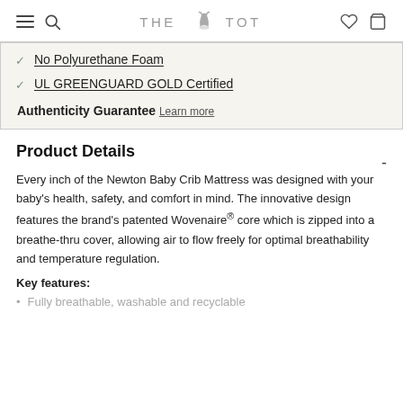THE TOT
No Polyurethane Foam
UL GREENGUARD GOLD Certified
Authenticity Guarantee Learn more
Product Details
Every inch of the Newton Baby Crib Mattress was designed with your baby's health, safety, and comfort in mind. The innovative design features the brand's patented Wovenaire® core which is zipped into a breathe-thru cover, allowing air to flow freely for optimal breathability and temperature regulation.
Key features:
Fully breathable, washable and recyclable